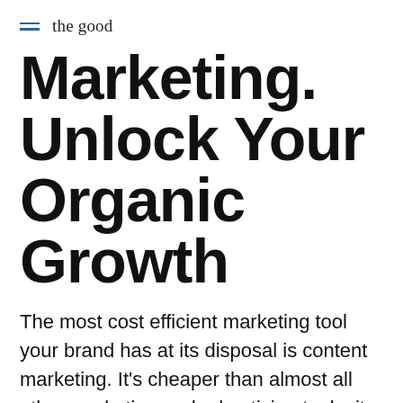≡  the good
Marketing. Unlock Your Organic Growth
The most cost efficient marketing tool your brand has at its disposal is content marketing. It's cheaper than almost all other marketing and advertising tools, it converts at a much higher rate, and it can be a primary driver of sales to your site.
Written by: